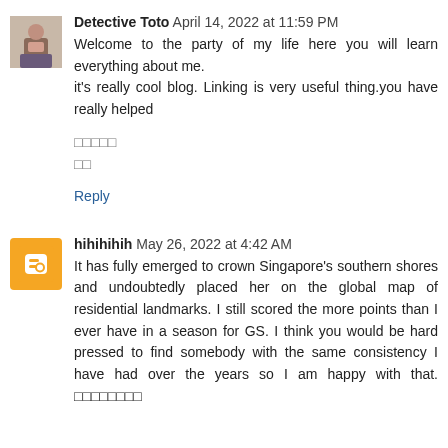[Figure (photo): Small profile photo of Detective Toto, a woman]
Detective Toto April 14, 2022 at 11:59 PM
Welcome to the party of my life here you will learn everything about me.
it's really cool blog. Linking is very useful thing.you have really helped

□□□□□
□□

Reply
[Figure (logo): Blogger orange B icon avatar for hihihihih]
hihihihih May 26, 2022 at 4:42 AM
It has fully emerged to crown Singapore's southern shores and undoubtedly placed her on the global map of residential landmarks. I still scored the more points than I ever have in a season for GS. I think you would be hard pressed to find somebody with the same consistency I have had over the years so I am happy with that. □□□□□□□□